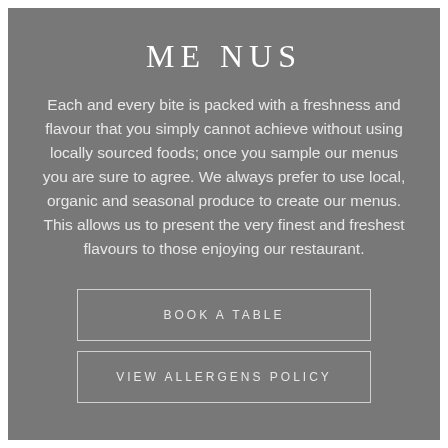MENUS
Each and every bite is packed with a freshness and flavour that you simply cannot achieve without using locally sourced foods; once you sample our menus you are sure to agree. We always prefer to use local, organic and seasonal produce to create our menus. This allows us to present the very finest and freshest flavours to those enjoying our restaurant.
BOOK A TABLE
VIEW ALLERGENS POLICY